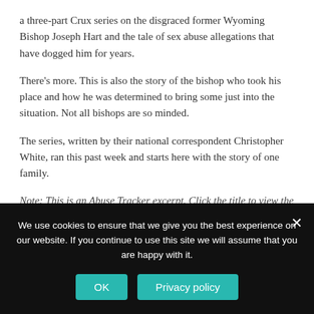a three-part Crux series on the disgraced former Wyoming Bishop Joseph Hart and the tale of sex abuse allegations that have dogged him for years.
There's more. This is also the story of the bishop who took his place and how he was determined to bring some just into the situation. Not all bishops are so minded.
The series, written by their national correspondent Christopher White, ran this past week and starts here with the story of one family.
Note: This is an Abuse Tracker excerpt. Click the title to view the full text of the original article. If the original article is no longer available, see our News Archive.
We use cookies to ensure that we give you the best experience on our website. If you continue to use this site we will assume that you are happy with it.